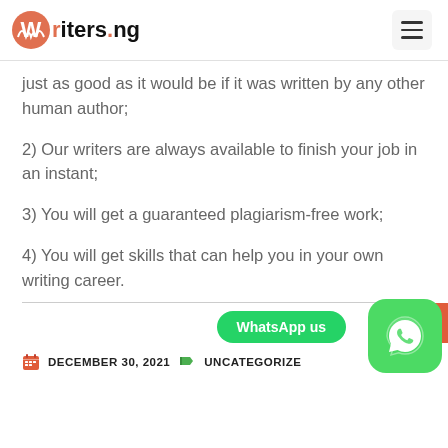Writers.ng
just as good as it would be if it was written by any other human author;
2) Our writers are always available to finish your job in an instant;
3) You will get a guaranteed plagiarism-free work;
4) You will get skills that can help you in your own writing career.
DECEMBER 30, 2021   UNCATEGORIZED